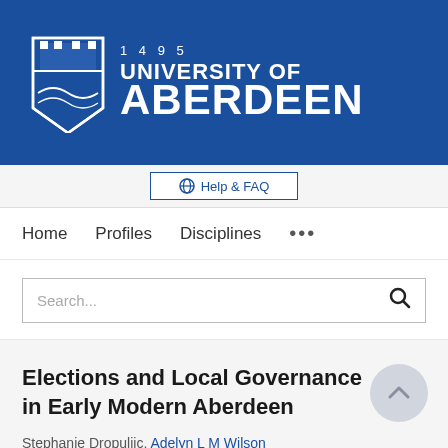[Figure (logo): University of Aberdeen logo with crest, year 1495, and text UNIVERSITY OF ABERDEEN on blue background]
Help & FAQ
Home   Profiles   Disciplines   ...
Search...
Elections and Local Governance in Early Modern Aberdeen
Stephanie Dropuljic, Adelyn L M Wilson